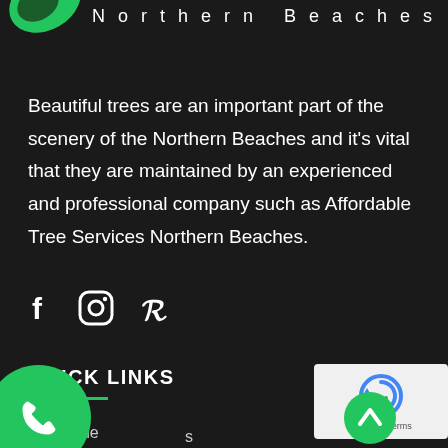Northern Beaches
Beautiful trees are an important part of the scenery of the Northern Beaches and it's vital that they are maintained by an experienced and professional company such as Affordable Tree Services Northern Beaches.
[Figure (illustration): Social media icons: Facebook (f), Instagram (camera/circle), Pinterest (P)]
QUICK LINKS
[Figure (other): reCAPTCHA widget showing recaptcha icon with Privacy and Terms links]
Home
[Figure (other): Green circle phone button at bottom left]
[Figure (other): Green circle with upward arrow chevron at bottom right]